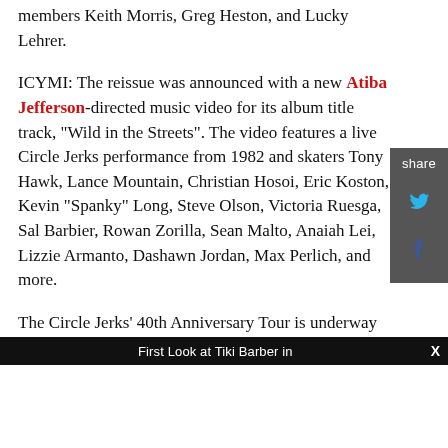members Keith Morris, Greg Heston, and Lucky Lehrer.
ICYMI: The reissue was announced with a new Atiba Jefferson-directed music video for its album title track, "Wild in the Streets". The video features a live Circle Jerks performance from 1982 and skaters Tony Hawk, Lance Mountain, Christian Hosoi, Eric Koston, Kevin "Spanky" Long, Steve Olson, Victoria Ruesga, Sal Barbier, Rowan Zorilla, Sean Malto, Anaiah Lei, Lizzie Armanto, Dashawn Jordan, Max Perlich, and more.
The Circle Jerks' 40th Anniversary Tour is underway
First Look at Tiki Barber in